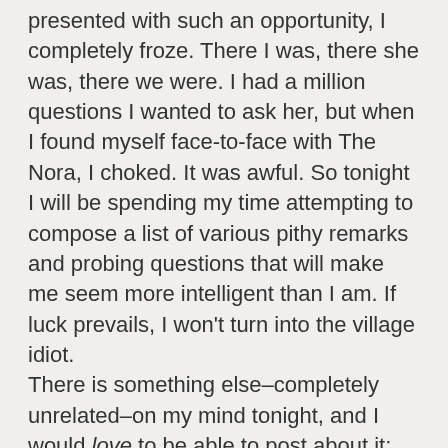presented with such an opportunity, I completely froze. There I was, there she was, there we were. I had a million questions I wanted to ask her, but when I found myself face-to-face with The Nora, I choked. It was awful. So tonight I will be spending my time attempting to compose a list of various pithy remarks and probing questions that will make me seem more intelligent than I am. If luck prevails, I won't turn into the village idiot.
There is something else–completely unrelated–on my mind tonight, and I would love to be able to post about it; unfortunately, I'm not 100% sure that it wouldn't be seen by people at work. This is just one more argument for an anonymous blog. When I started all this, I never would have given it a thought, but then I never expected my blog to become my daily catharsis. Maybe someday soon I'll be able to share what's on my mind.